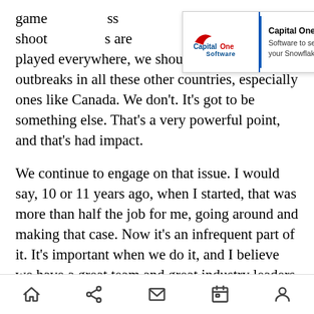[Figure (screenshot): Capital One Slingshot advertisement banner with Capital One Software logo on the left and ad text on the right: 'Capital One Slingshot - Software to seamlessly manage your Snowflake cloud data costs.' with a close (X) button.]
game... ss shoot... are played everywhere, we should see these outbreaks in all these other countries, especially ones like Canada. We don't. It's got to be something else. That's a very powerful point, and that's had impact.
We continue to engage on that issue. I would say, 10 or 11 years ago, when I started, that was more than half the job for me, going around and making that case. Now it's an infrequent part of it. It's important when we do it, and I believe we have a great team and great industry leaders making the point very well. That's why you're not hearing as
[Figure (screenshot): Mobile browser navigation bar with home, share, mail, bookmark, and profile icons.]